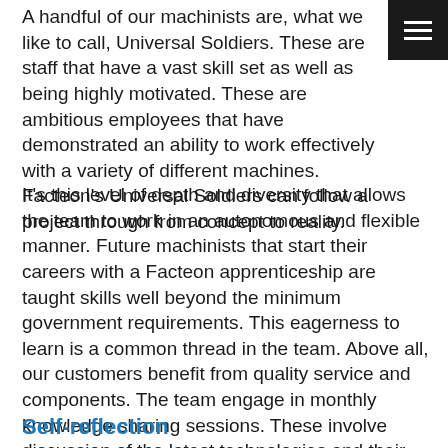A handful of our machinists are, what we like to call, Universal Soldiers. These are staff that have a vast skill set as well as being highly motivated. These are ambitious employees that have demonstrated an ability to work effectively with a variety of different machines. Facteon's Universal Soldiers can follow a project through from concept to reality.
It's this level of depth and diversity that allows the team to work in an autonomous and flexible manner. Future machinists that start their careers with a Facteon apprenticeship are taught skills well beyond the minimum government requirements. This eagerness to learn is a common thread in the team. Above all, our customers benefit from quality service and components. The team engage in monthly knowledge sharing sessions. These involve discussion of the latest technologies and their applications. Despite the capabilities of the machines, it's essential to utilise skilled operators to achieve the required level of precision.
Self-reflection